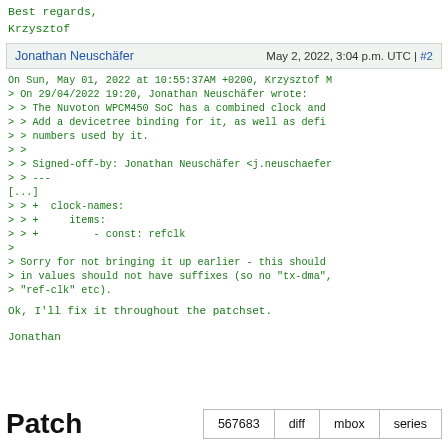Best regards,
Krzysztof
Jonathan Neuschäfer   May 2, 2022, 3:04 p.m. UTC | #2
On Sun, May 01, 2022 at 10:55:37AM +0200, Krzysztof M
> On 29/04/2022 19:20, Jonathan Neuschäfer wrote:
> > The Nuvoton WPCM450 SoC has a combined clock and
> > Add a devicetree binding for it, as well as defi
> > numbers used by it.
> >
> > Signed-off-by: Jonathan Neuschäfer <j.neuschaefer
> > ---
[...]
> > +  clock-names:
> > +     items:
> > +        - const: refclk
>
> Sorry for not bringing it up earlier - this should
> in values should not have suffixes (so no "tx-dma",
> "ref-clk" etc).
Ok, I'll fix it throughout the patchset.
Jonathan
Patch   567683   diff   mbox   series